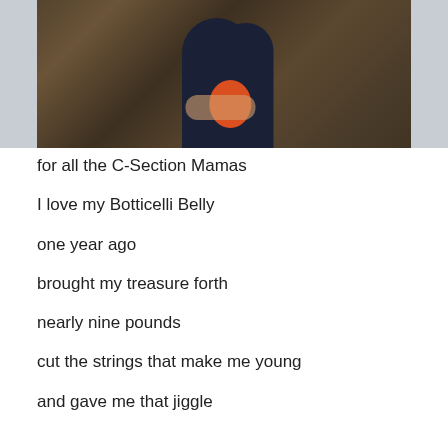[Figure (photo): Two people standing in front of a bronze relief wall. One person wearing dark clothing cradles the other's pregnant belly, which is covered by a bright orange/red top.]
for all the C-Section Mamas
I love my Botticelli Belly
one year ago
brought my treasure forth
nearly nine pounds
cut the strings that make me young
and gave me that jiggle